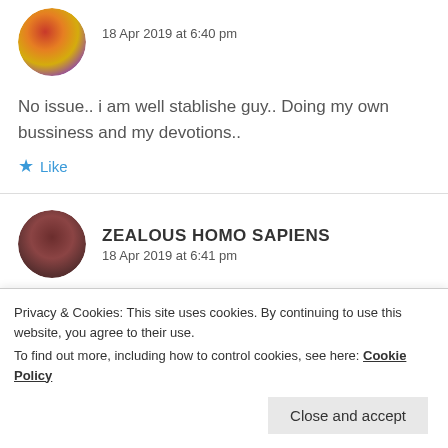[Figure (photo): Circular avatar image with colorful artistic pattern (red, orange, yellow, purple, blue tones)]
18 Apr 2019 at 6:40 pm
No issue.. i am well stablishe guy.. Doing my own bussiness and my devotions..
★ Like
[Figure (photo): Circular avatar image of a person with dark reddish-brown tones]
ZEALOUS HOMO SAPIENS
18 Apr 2019 at 6:41 pm
Privacy & Cookies: This site uses cookies. By continuing to use this website, you agree to their use.
To find out more, including how to control cookies, see here: Cookie Policy
Close and accept